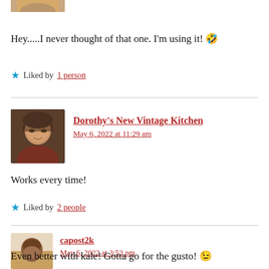[Figure (photo): Partial avatar image at top, partially cropped]
Hey.....I never thought of that one. I'm using it! 🤣
★ Liked by 1 person
[Figure (photo): Avatar photo of Dorothy, woman with glasses and dark hair]
Dorothy's New Vintage Kitchen
May 6, 2022 at 11:29 am
Works every time!
★ Liked by 2 people
[Figure (photo): Avatar photo of capost2k, person sitting outdoors]
capost2k
May 6, 2022 at 3:53 pm
Even better with kale! Gotta go for the gusto! 😉